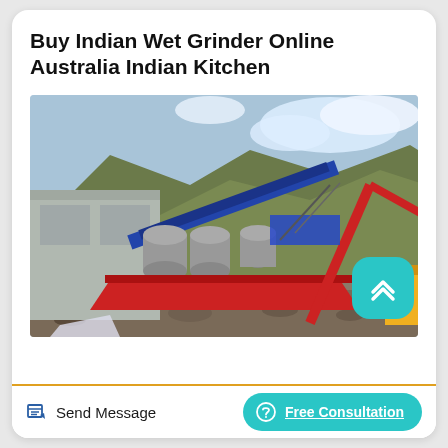Buy Indian Wet Grinder Online Australia Indian Kitchen
[Figure (photo): Industrial mining or construction equipment site with large cylindrical grinding/processing machines, conveyor belts, a red and yellow crane, rocky terrain, hillside with sparse vegetation, and a concrete building structure in the background under a partly cloudy sky.]
Send Message
Free Consultation